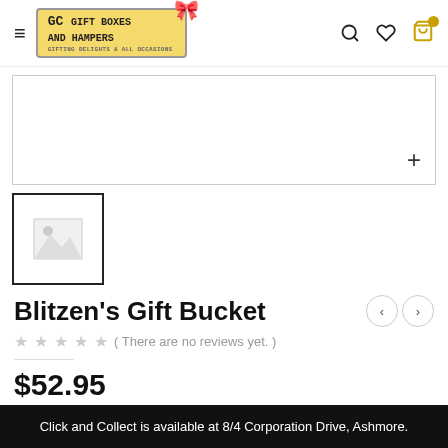[Figure (logo): GC Gift Boxes and Hampers logo with yellow tag shape, red bow, and subtitle text]
[Figure (photo): Main product image area - blank/empty with a plus icon in bottom right corner]
[Figure (photo): Thumbnail placeholder image with grey image placeholder icon]
Blitzen’s Gift Bucket
( There are no reviews yet. )
$52.95
Click and Collect is available at 8/4 Corporation Drive, Ashmore.